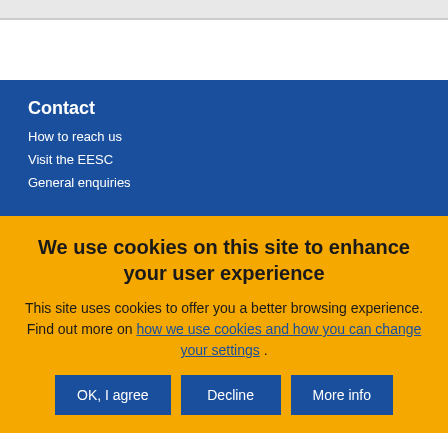Contact
How to reach us
Visit the EESC
General enquiries
We use cookies on this site to enhance your user experience
This site uses cookies to offer you a better browsing experience. Find out more on how we use cookies and how you can change your settings.